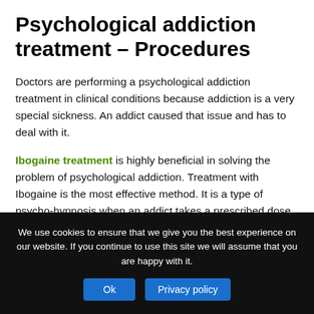Psychological addiction treatment – Procedures
Doctors are performing a psychological addiction treatment in clinical conditions because addiction is a very special sickness. An addict caused that issue and has to deal with it.
Ibogaine treatment is highly beneficial in solving the problem of psychological addiction. Treatment with Ibogaine is the most effective method. It is a type of psycho-hypnosis when an addict takes a prescribed dose of ibogaine
We use cookies to ensure that we give you the best experience on our website. If you continue to use this site we will assume that you are happy with it.